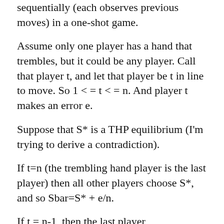sequentially (each observes previous moves) in a one-shot game.
Assume only one player has a hand that trembles, but it could be any player. Call that player t, and let that player be t in line to move. So 1 <= t <= n. And player t makes an error e.
Suppose that S* is a THP equilibrium (I'm trying to derive a contradiction).
If t=n (the trembling hand player is the last player) then all other players choose S*, and so Sbar=S* + e/n.
If t = n-1, then the last player...